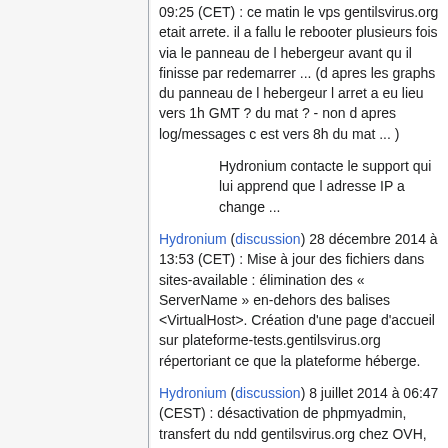09:25 (CET) : ce matin le vps gentilsvirus.org etait arrete. il a fallu le rebooter plusieurs fois via le panneau de l hebergeur avant qu il finisse par redemarrer ... (d apres les graphs du panneau de l hebergeur l arret a eu lieu vers 1h GMT ? du mat ? - non d apres log/messages c est vers 8h du mat ... )
Hydronium contacte le support qui lui apprend que l adresse IP a change ...
Hydronium (discussion) 28 décembre 2014 à 13:53 (CET) : Mise à jour des fichiers dans sites-available : élimination des « ServerName » en-dehors des balises <VirtualHost>. Création d'une page d'accueil sur plateforme-tests.gentilsvirus.org répertoriant ce que la plateforme héberge.
Hydronium (discussion) 8 juillet 2014 à 06:47 (CEST) : désactivation de phpmyadmin, transfert du ndd gentilsvirus.org chez OVH, création des sous-domaines plateforme-tests.gentilsvirus.org, wiki.plateforme-tests.gentilsvirus.org et ateliersconstituants.gentilsvirus.org (cette